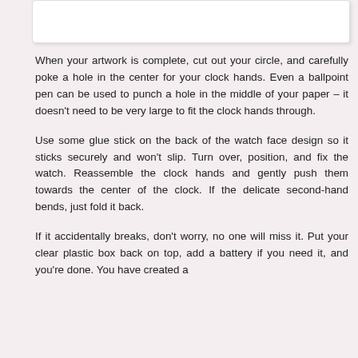[Figure (other): White rectangular box at the top of the page (partial UI element)]
When your artwork is complete, cut out your circle, and carefully poke a hole in the center for your clock hands. Even a ballpoint pen can be used to punch a hole in the middle of your paper – it doesn't need to be very large to fit the clock hands through.
Use some glue stick on the back of the watch face design so it sticks securely and won't slip. Turn over, position, and fix the watch. Reassemble the clock hands and gently push them towards the center of the clock. If the delicate second-hand bends, just fold it back.
If it accidentally breaks, don't worry, no one will miss it. Put your clear plastic box back on top, add a battery if you need it, and you're done. You have created a
[Figure (other): Social media share buttons on the left side: Facebook (blue circle with f), Google+ (red circle with g+), Twitter (blue circle with bird), and Add/Plus (blue circle with +)]